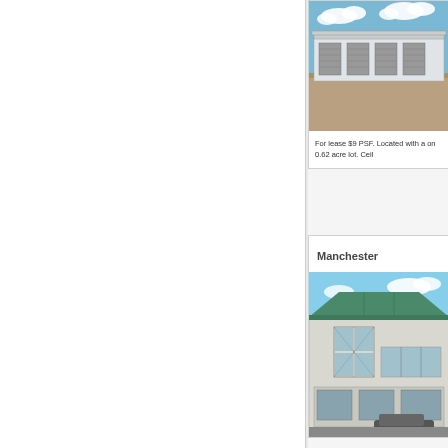[Figure (photo): Exterior photo of a warehouse/industrial building with multiple garage doors, gravel lot, blue sky with clouds]
For lease $9 PSF. Located with a on 0.62 acre lot. Ceil
Manchester
[Figure (photo): Exterior photo of a commercial building with green metal roof, storefront windows, parked car visible]